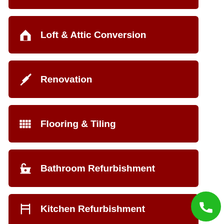Loft & Attic Conversion
Renovation
Flooring & Tiling
Bathroom Refurbishment
Kitchen Refurbishment
Bricklaying Services
Carpentry Services
Painting and Decorating